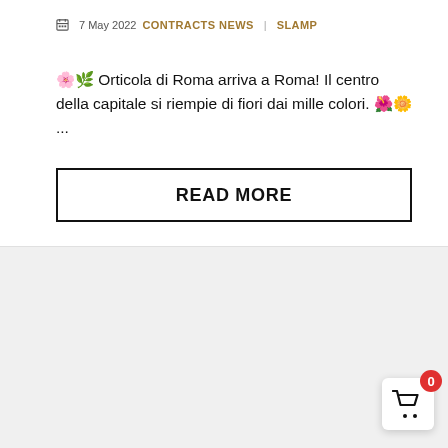7 May 2022  CONTRACTS NEWS | SLAMP
🌸🌿 Orticola di Roma arriva a Roma! Il centro della capitale si riempie di fiori dai mille colori. 🌺🌼 ...
READ MORE
[Figure (other): Shopping cart widget with badge showing 0]